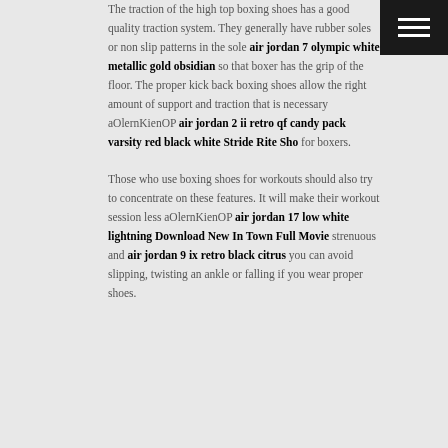The traction of the high top boxing shoes has a good quality traction system. They generally have rubber soles or non slip patterns in the sole air jordan 7 olympic white metallic gold obsidian so that boxer has the grip of the floor. The proper kick back boxing shoes allow the right amount of support and traction that is necessary aOlernKienOP air jordan 2 ii retro qf candy pack varsity red black white Stride Rite Sho for boxers.
Those who use boxing shoes for workouts should also try to concentrate on these features. It will make their workout session less aOlernKienOP air jordan 17 low white lightning Download New In Town Full Movie strenuous and air jordan 9 ix retro black citrus you can avoid slipping, twisting an ankle or falling if you wear proper shoes.